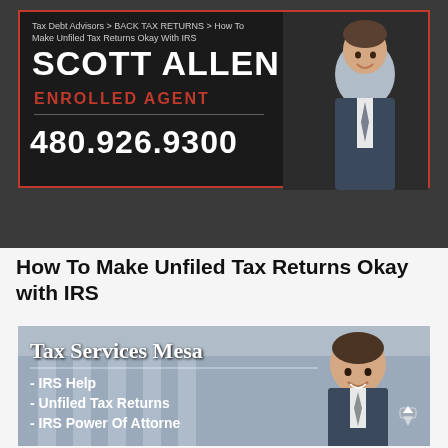Tax Debt Advisors > BACK TAX RETURNS > How To Make Unfiled Tax Returns Okay With IRS
[Figure (infographic): Dark banner ad for Scott Allen E.A., Enrolled Agent. Shows name, title, phone number 480.926.9300, and a photo of the agent in a suit.]
How To Make Unfiled Tax Returns Okay with IRS
[Figure (infographic): Image banner for Tax Services Mesa showing IRS Help, Unfiled Tax Returns, IRS Power Of Attorney, with a photo of agent and government building in background.]